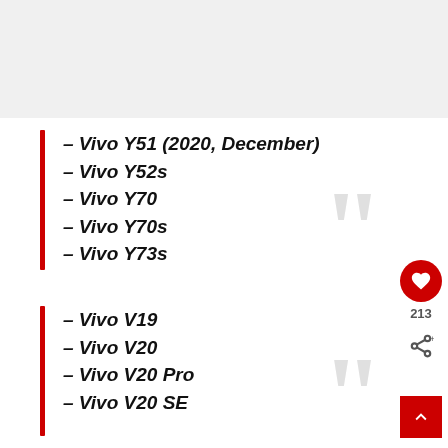[Figure (other): Gray placeholder image area at top of page]
– Vivo Y51 (2020, December)
– Vivo Y52s
– Vivo Y70
– Vivo Y70s
– Vivo Y73s
– Vivo V19
– Vivo V20
– Vivo V20 Pro
– Vivo V20 SE